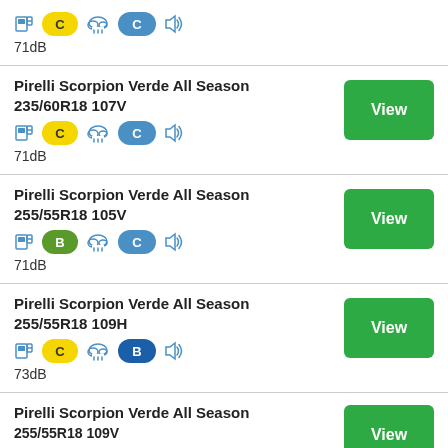71dB, fuel: C, wet: C
Pirelli Scorpion Verde All Season 235/60R18 107V, fuel: C, wet: C, 71dB
Pirelli Scorpion Verde All Season 255/55R18 105V, fuel: B, wet: C, 71dB
Pirelli Scorpion Verde All Season 255/55R18 109H, fuel: C, wet: B, 73dB
Pirelli Scorpion Verde All Season 255/55R18 109V